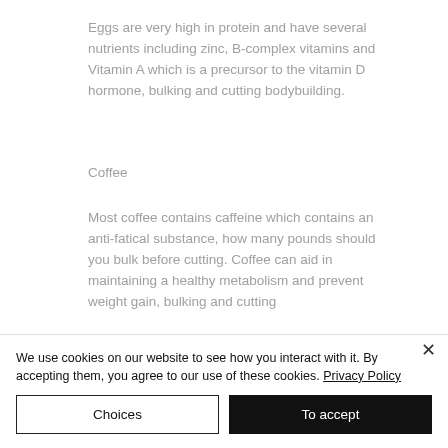Eggs are very high in protein and have several nutrients including zinc, B-complex vitamins and Vitamin A which is a precursor to the vitamin D hormone, bulking and cutting bodybuilding.
Coffee
Most coffee contains caffeine which contains an anti-fatical substance, how many pounds should you bulk before cutting. Coffee can aid in maintaining a healthy metabolism and prevent weight gain, bulking and cutting
We use cookies on our website to see how you interact with it. By accepting them, you agree to our use of these cookies. Privacy Policy
Choices
To accept